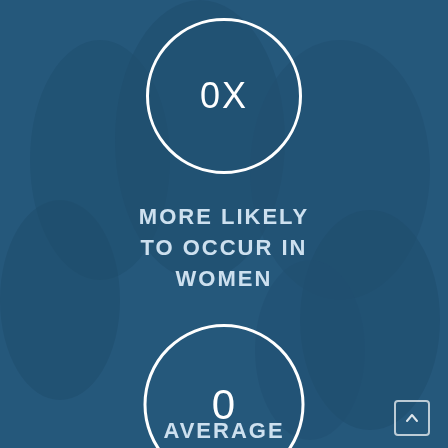[Figure (infographic): Dark blue tinted background with people, featuring two circular stat badges and text overlays]
0X
MORE LIKELY TO OCCUR IN WOMEN
0
AVERAGE